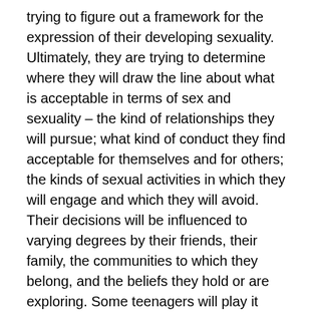trying to figure out a framework for the expression of their developing sexuality. Ultimately, they are trying to determine where they will draw the line about what is acceptable in terms of sex and sexuality – the kind of relationships they will pursue; what kind of conduct they find acceptable for themselves and for others; the kinds of sexual activities in which they will engage and which they will avoid. Their decisions will be influenced to varying degrees by their friends, their family, the communities to which they belong, and the beliefs they hold or are exploring. Some teenagers will play it safe in terms of their sexual experimentation; others will be much more adventurous.
As if the above were not complicated enough, there are other factors at play too! Young people develop at different rates. For most, puberty starts between the ages of 9 and 13 and lasts several years. The age at